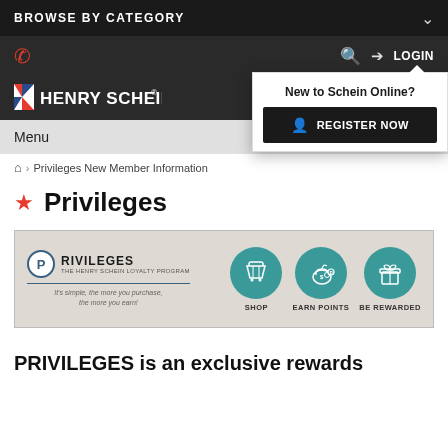BROWSE BY CATEGORY
[Figure (screenshot): Henry Schein website navigation header with phone icon, search, login, and a dropdown popup showing 'New to Schein Online?' and 'REGISTER NOW' button]
Menu
Privileges New Member Information
Privileges
[Figure (infographic): Privileges - The Henry Schein Loyalty Program banner. Shows P circle logo, 'It's simple, the more you purchase, the more you earn!' tagline, and three teal circle icons: SHOP (shopping basket), EARN POINTS (piggy bank), BE REWARDED (gift box)]
PRIVILEGES is an exclusive rewards